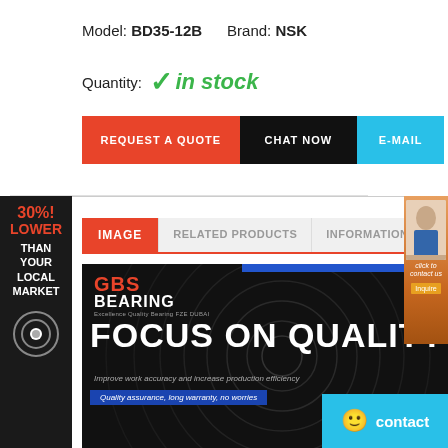Model: BD35-12B    Brand: NSK
Quantity: ✓ in stock
[Figure (infographic): Left sidebar ad: 30% LOWER THAN YOUR LOCAL MARKET with bearing icon on dark background]
[Figure (infographic): Right sidebar: customer service representative thumbnail]
REQUEST A QUOTE
CHAT NOW
E-MAIL
IMAGE  |  RELATED PRODUCTS  |  INFORMATION
[Figure (logo): GBS Bearing promotional banner with FOCUS ON QUALITY text, GBS Bearing logo in red and white, spiral background. Text: Improve work accuracy and increase production efficiency. Quality assurance, long warranty, no worries.]
contact